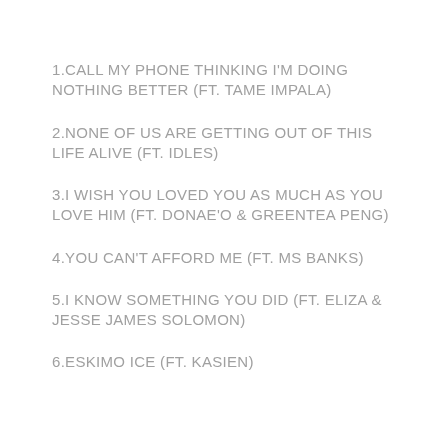1.CALL MY PHONE THINKING I'M DOING NOTHING BETTER (FT. TAME IMPALA)
2.NONE OF US ARE GETTING OUT OF THIS LIFE ALIVE (FT. IDLES)
3.I WISH YOU LOVED YOU AS MUCH AS YOU LOVE HIM (FT. DONAE'O & GREENTEA PENG)
4.YOU CAN'T AFFORD ME (FT. MS BANKS)
5.I KNOW SOMETHING YOU DID (FT. ELIZA & JESSE JAMES SOLOMON)
6.ESKIMO ICE (FT. KASIEN)